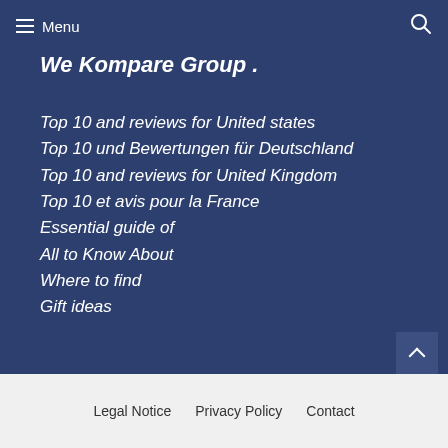≡ Menu
We Kompare Group .
Top 10 and reviews for United states
Top 10 und Bewertungen für Deutschland
Top 10 and reviews for United Kingdom
Top 10 et avis pour la France
Essential guide of
All to Know About
Where to find
Gift ideas
Legal Notice  Privacy Policy  Contact